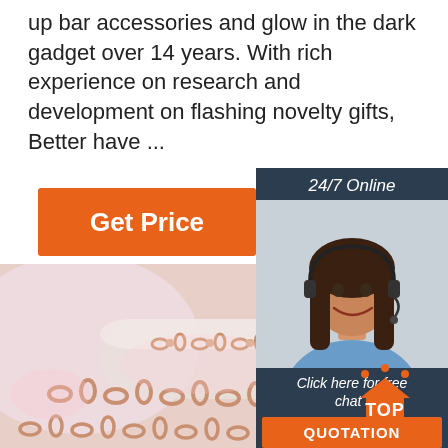up bar accessories and glow in the dark gadget over 14 years. With rich experience on research and development on flashing novelty gifts, Better have ...
Get Price
24/7 Online
[Figure (photo): Customer service woman wearing headset, smiling]
Click here for free chat !
QUOTATION
[Figure (photo): Rose gold chain jewelry on soft background]
[Figure (logo): TOP logo with orange house/arrow icon and dots]